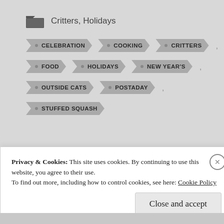Critters, Holidays
CELEBRATION
COOKING
CRITTERS
FOOD
HOLIDAYS
NEW YEAR'S
OUTSIDE CATS
POSTADAY
STUFFED SQUASH
Privacy & Cookies: This site uses cookies. By continuing to use this website, you agree to their use.
To find out more, including how to control cookies, see here: Cookie Policy
Close and accept